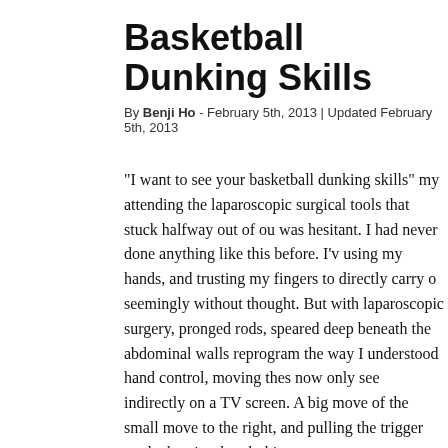Basketball Dunking Skills
By Benji Ho - February 5th, 2013 | Updated February 5th, 2013
“I want to see your basketball dunking skills” my attending the laparoscopic surgical tools that stuck halfway out of ou was hesitant. I had never done anything like this before. I’v using my hands, and trusting my fingers to directly carry o seemingly without thought. But with laparoscopic surgery, pronged rods, speared deep beneath the abdominal walls reprogram the way I understood hand control, moving thes now only see indirectly on a TV screen. A big move of the small move to the right, and pulling the trigger made the pi rod grab things.
With only a few seconds to adjust to these new controls, I coordination. I grabbed the newly resected gallbladder and had just assisted in my first cholecystectomy.
Manually maneuvering laparoscopic tools with my eyes fix